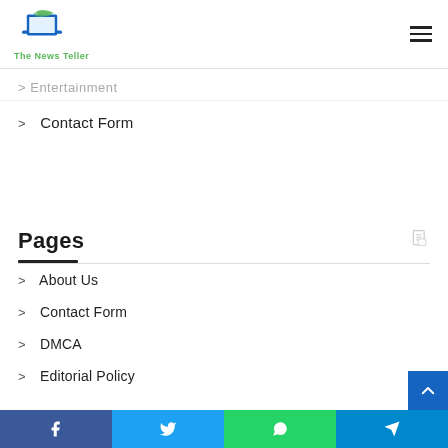[Figure (logo): The News Teller logo with laptop icon and green/blue text]
Entertainment
Contact Form
Pages
About Us
Contact Form
DMCA
Editorial Policy
Facebook Twitter WhatsApp Telegram social share bar